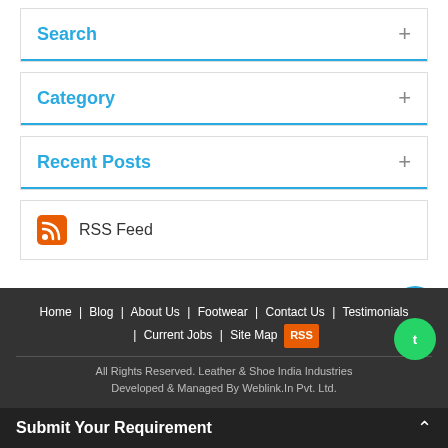Search
Category
Recent Posts
RSS Feed
Home | Blog | About Us | Footwear | Contact Us | Testimonials | Current Jobs | Site Map | RSS
All Rights Reserved. Leather & Shoe India Industries Developed & Managed By Weblink.In Pvt. Ltd.
Submit Your Requirement